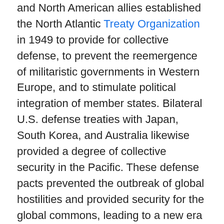and North American allies established the North Atlantic Treaty Organization in 1949 to provide for collective defense, to prevent the reemergence of militaristic governments in Western Europe, and to stimulate political integration of member states. Bilateral U.S. defense treaties with Japan, South Korea, and Australia likewise provided a degree of collective security in the Pacific. These defense pacts prevented the outbreak of global hostilities and provided security for the global commons, leading to a new era of globalization and massive economic growth.
NATO is arguably the most successful alliance in history. For forty years it deterred a Soviet attack on Western Europe and provided a defense umbrella under which Europe grew both peaceful and prosperous. Germany was allowed to rearm under NATO auspices, and by the 1980s NATO possessed significant conventional